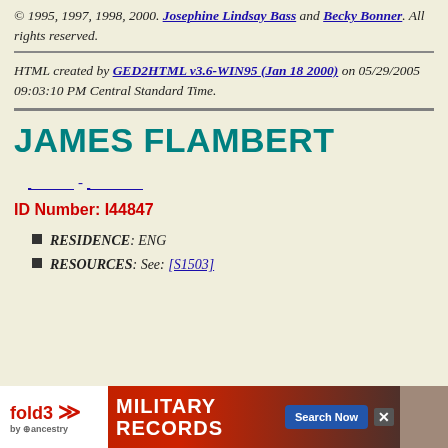© 1995, 1997, 1998, 2000. Josephine Lindsay Bass and Becky Bonner. All rights reserved.
HTML created by GED2HTML v3.6-WIN95 (Jan 18 2000) on 05/29/2005 09:03:10 PM Central Standard Time.
JAMES FLAMBERT
__ - __
ID Number: I44847
RESIDENCE: ENG
RESOURCES: See: [S1503]
[Figure (other): Advertisement banner for fold3 Military Records by Ancestry with Search Now button and a photo of a soldier]